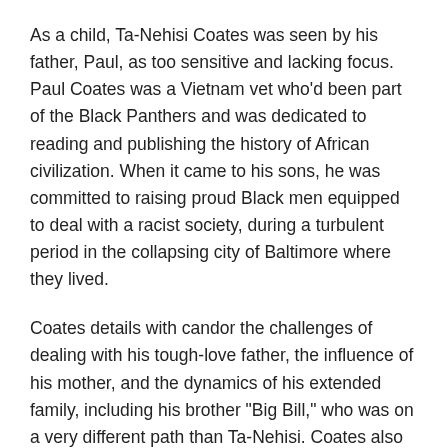As a child, Ta-Nehisi Coates was seen by his father, Paul, as too sensitive and lacking focus. Paul Coates was a Vietnam vet who'd been part of the Black Panthers and was dedicated to reading and publishing the history of African civilization. When it came to his sons, he was committed to raising proud Black men equipped to deal with a racist society, during a turbulent period in the collapsing city of Baltimore where they lived.
Coates details with candor the challenges of dealing with his tough-love father, the influence of his mother, and the dynamics of his extended family, including his brother "Big Bill," who was on a very different path than Ta-Nehisi. Coates also tells of his family struggles at school and with girls, making this a timely story to which many readers will relate.